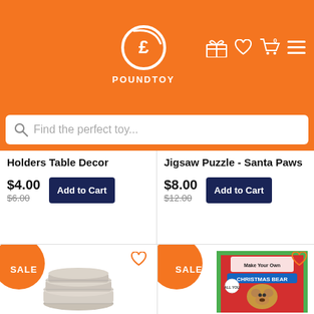[Figure (logo): PoundToy logo: orange header with pound sign circle logo and POUNDTOY text, with gift, heart, cart (0), and menu icons]
Find the perfect toy...
Holders Table Decor
$4.00 $6.00
Add to Cart
Jigsaw Puzzle - Santa Paws
$8.00 $12.00
Add to Cart
SALE
SALE
[Figure (photo): Silver/marble ribbon or coaster stack product image]
[Figure (photo): Red box Christmas bear make your own kit product image]